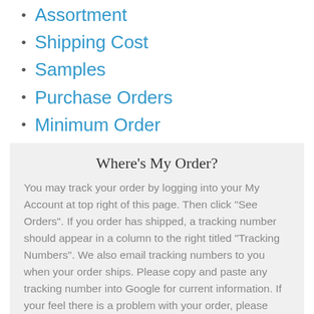Assortment
Shipping Cost
Samples
Purchase Orders
Minimum Order
Where's My Order?
You may track your order by logging into your My Account at top right of this page. Then click "See Orders". If you order has shipped, a tracking number should appear in a column to the right titled "Tracking Numbers". We also email tracking numbers to you when your order ships. Please copy and paste any tracking number into Google for current information. If your feel there is a problem with your order, please email ask@widgetco.com with your order number and concern.